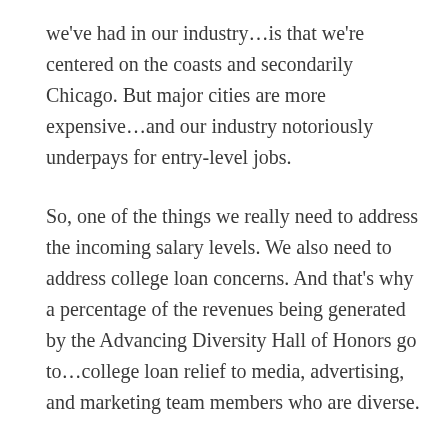we've had in our industry…is that we're centered on the coasts and secondarily Chicago. But major cities are more expensive…and our industry notoriously underpays for entry-level jobs.
So, one of the things we really need to address the incoming salary levels. We also need to address college loan concerns. And that's why a percentage of the revenues being generated by the Advancing Diversity Hall of Honors go to…college loan relief to media, advertising, and marketing team members who are diverse.
WHAT CAN MARKETERS DO TODAY TO